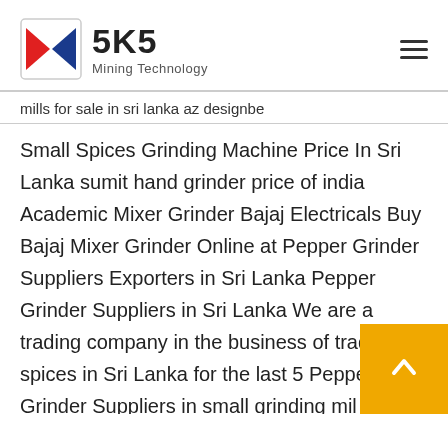SKS Mining Technology
mills for sale in sri lanka az designbe
Small Spices Grinding Machine Price In Sri Lanka sumit hand grinder price of india Academic Mixer Grinder Bajaj Electricals Buy Bajaj Mixer Grinder Online at Pepper Grinder Suppliers Exporters in Sri Lanka Pepper Grinder Suppliers in Sri Lanka We are a trading company in the business of trading spices in Sri Lanka for the last 5 Pepper Grinder Suppliers in small grinding mills cement grinding chelli grinding mills for sale in sri lanka Get Price Grinding Mill For sale in Gampaha ikmanlk Grinding Mill For sale in